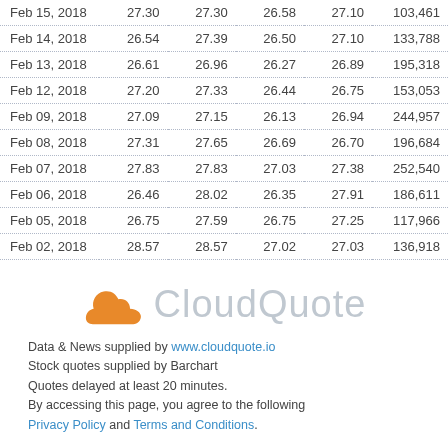| Feb 15, 2018 | 27.30 | 27.30 | 26.58 | 27.10 | 103,461 |
| Feb 14, 2018 | 26.54 | 27.39 | 26.50 | 27.10 | 133,788 |
| Feb 13, 2018 | 26.61 | 26.96 | 26.27 | 26.89 | 195,318 |
| Feb 12, 2018 | 27.20 | 27.33 | 26.44 | 26.75 | 153,053 |
| Feb 09, 2018 | 27.09 | 27.15 | 26.13 | 26.94 | 244,957 |
| Feb 08, 2018 | 27.31 | 27.65 | 26.69 | 26.70 | 196,684 |
| Feb 07, 2018 | 27.83 | 27.83 | 27.03 | 27.38 | 252,540 |
| Feb 06, 2018 | 26.46 | 28.02 | 26.35 | 27.91 | 186,611 |
| Feb 05, 2018 | 26.75 | 27.59 | 26.75 | 27.25 | 117,966 |
| Feb 02, 2018 | 28.57 | 28.57 | 27.02 | 27.03 | 136,918 |
[Figure (logo): CloudQuote logo with orange cloud icon and grey brand text]
Data & News supplied by www.cloudquote.io
Stock quotes supplied by Barchart
Quotes delayed at least 20 minutes.
By accessing this page, you agree to the following
Privacy Policy and Terms and Conditions.